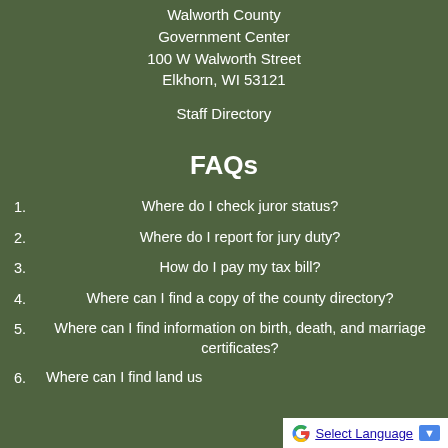Walworth County
Government Center
100 W Walworth Street
Elkhorn, WI 53121
Staff Directory
FAQs
1. Where do I check juror status?
2. Where do I report for jury duty?
3. How do I pay my tax bill?
4. Where can I find a copy of the county directory?
5. Where can I find information on birth, death, and marriage certificates?
6. Where can I find land us...